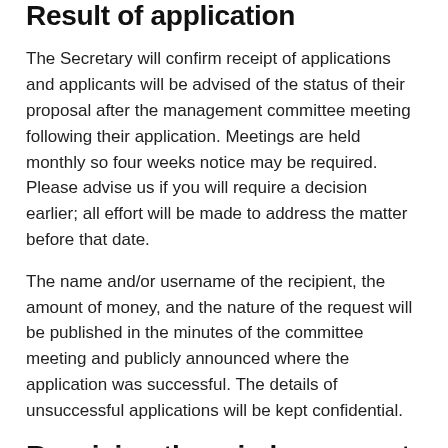Result of application
The Secretary will confirm receipt of applications and applicants will be advised of the status of their proposal after the management committee meeting following their application. Meetings are held monthly so four weeks notice may be required. Please advise us if you will require a decision earlier; all effort will be made to address the matter before that date.
The name and/or username of the recipient, the amount of money, and the nature of the request will be published in the minutes of the committee meeting and publicly announced where the application was successful. The details of unsuccessful applications will be kept confidential.
Receiving the reimbursement
Payments are generally made via a direct deposit into the recipients account. Please note that as a reimbursement